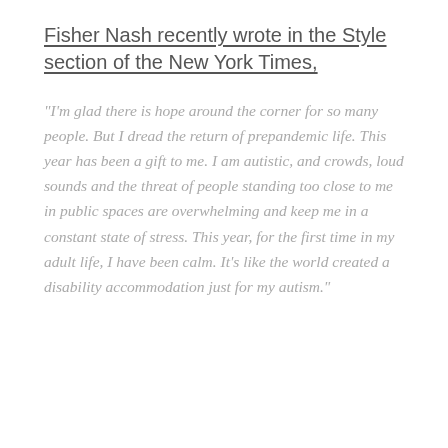Fisher Nash recently wrote in the Style section of the New York Times,
“I’m glad there is hope around the corner for so many people. But I dread the return of prepandemic life. This year has been a gift to me. I am autistic, and crowds, loud sounds and the threat of people standing too close to me in public spaces are overwhelming and keep me in a constant state of stress. This year, for the first time in my adult life, I have been calm. It’s like the world created a disability accommodation just for my autism.”